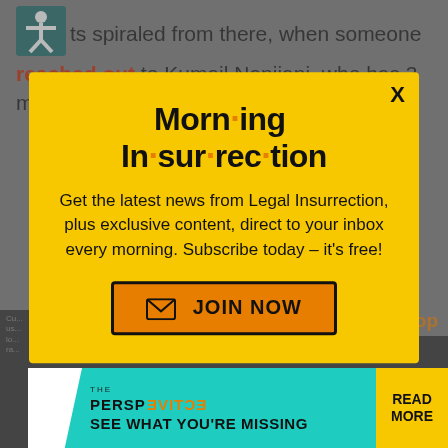ts spiraled from there, when someone reached out to Kumail Nanjiani, who has 3 million Twitter followers:
[Figure (screenshot): Modal popup for Morning Insurrection newsletter with yellow background, large bold title 'Morn·ing In·sur·rec·tion', subscription text, and orange JOIN NOW button]
[Figure (screenshot): Bottom of webpage showing close X button, Back to top link, and The Perspective advertisement banner with teal background saying SEE WHAT YOU'RE MISSING]